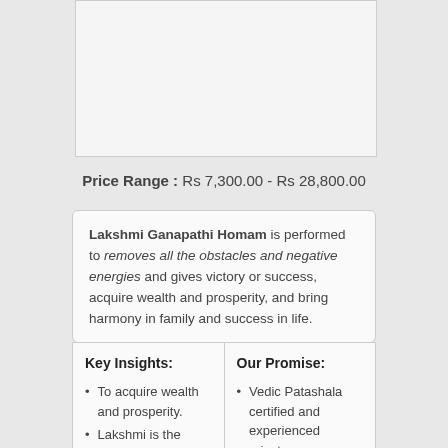[Figure (other): Image placeholder box, light gray background with border]
Price Range : Rs 7,300.00 - Rs 28,800.00
Lakshmi Ganapathi Homam is performed to removes all the obstacles and negative energies and gives victory or success, acquire wealth and prosperity, and bring harmony in family and success in life.
Key Insights:
To acquire wealth and prosperity.
Lakshmi is the
Our Promise:
Vedic Patashala certified and experienced priests.